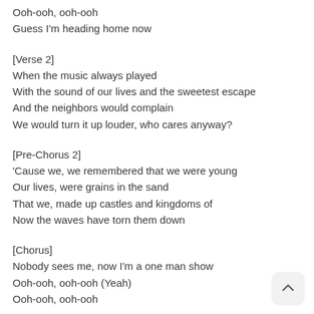Ooh-ooh, ooh-ooh
Guess I'm heading home now
[Verse 2]
When the music always played
With the sound of our lives and the sweetest escape
And the neighbors would complain
We would turn it up louder, who cares anyway?
[Pre-Chorus 2]
'Cause we, we remembered that we were young
Our lives, were grains in the sand
That we, made up castles and kingdoms of
Now the waves have torn them down
[Chorus]
Nobody sees me, now I'm a one man show
Ooh-ooh, ooh-ooh (Yeah)
Ooh-ooh, ooh-ooh